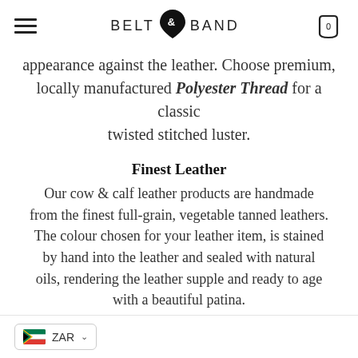BELT & BAND
appearance against the leather. Choose premium, locally manufactured Polyester Thread for a classic twisted stitched luster.
Finest Leather
Our cow & calf leather products are handmade from the finest full-grain, vegetable tanned leathers. The colour chosen for your leather item, is stained by hand into the leather and sealed with natural oils, rendering the leather supple and ready to age with a beautiful patina.
ZAR